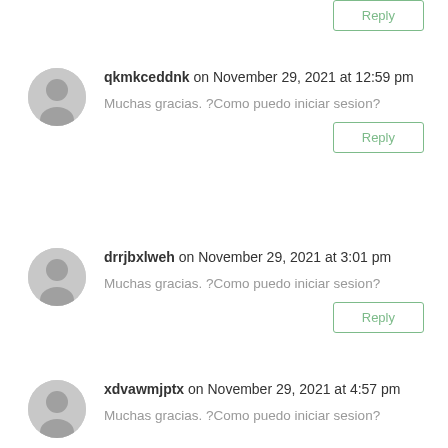[Figure (other): Partial Reply button at top of page (cropped from previous comment)]
qkmkceddnk on November 29, 2021 at 12:59 pm
Muchas gracias. ?Como puedo iniciar sesion?
Reply
drrjbxlweh on November 29, 2021 at 3:01 pm
Muchas gracias. ?Como puedo iniciar sesion?
Reply
xdvawmjptx on November 29, 2021 at 4:57 pm
Muchas gracias. ?Como puedo iniciar sesion?